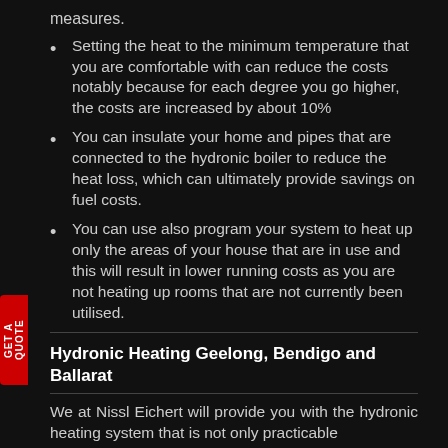measures.
Setting the heat to the minimum temperature that you are comfortable with can reduce the costs notably because for each degree you go higher, the costs are increased by about 10%
You can insulate your home and pipes that are connected to the hydronic boiler to reduce the heat loss, which can ultimately provide savings on fuel costs.
You can use also program your system to heat up only the areas of your house that are in use and this will result in lower running costs as you are not heating up rooms that are not currently been utilised.
Hydronic Heating Geelong, Bendigo and Ballarat
We at Nissl Eichert will provide you with the hydronic heating system that is not only practicable